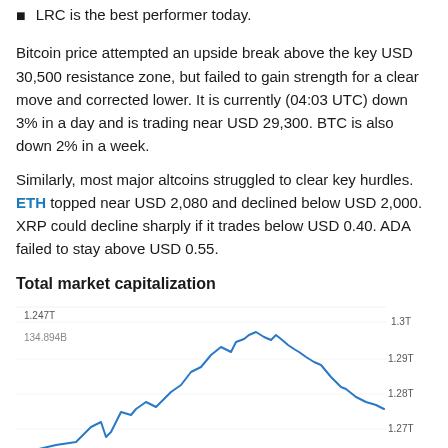LRC is the best performer today.
Bitcoin price attempted an upside break above the key USD 30,500 resistance zone, but failed to gain strength for a clear move and corrected lower. It is currently (04:03 UTC) down 3% in a day and is trading near USD 29,300. BTC is also down 2% in a week.
Similarly, most major altcoins struggled to clear key hurdles. ETH topped near USD 2,080 and declined below USD 2,000. XRP could decline sharply if it trades below USD 0.40. ADA failed to stay above USD 0.55.
Total market capitalization
[Figure (continuous-plot): Line chart showing total crypto market capitalization over time. Y-axis labels on right: 1.3T, 1.29T, 1.28T, 1.27T. Annotations: 1.247T and 134.894B on left. Blue line rises sharply from left-center forming peaks around 1.29T-1.30T range then declines toward right.]